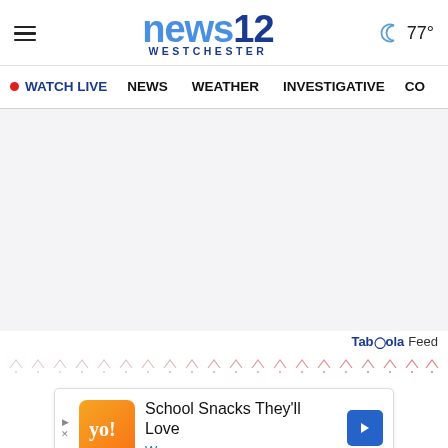news12 WESTCHESTER — ☽ 77°
● WATCH LIVE   NEWS   WEATHER   INVESTIGATIVE   CO
[Figure (screenshot): Empty main content area with light gray background]
Taboola Feed
[Figure (illustration): Row of small decorative arrow/chevron icons in pink/red tones]
[Figure (infographic): Advertisement banner: School Snacks They'll Love — Wegmans, with orange/yellow logo and blue navigation arrow]